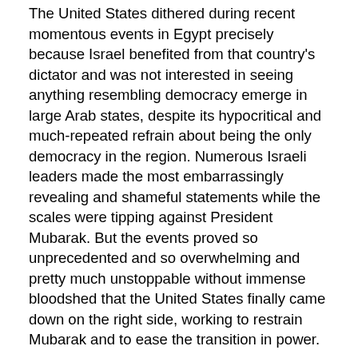The United States dithered during recent momentous events in Egypt precisely because Israel benefited from that country's dictator and was not interested in seeing anything resembling democracy emerge in large Arab states, despite its hypocritical and much-repeated refrain about being the only democracy in the region. Numerous Israeli leaders made the most embarrassingly revealing and shameful statements while the scales were tipping against President Mubarak. But the events proved so unprecedented and so overwhelming and pretty much unstoppable without immense bloodshed that the United States finally came down on the right side, working to restrain Mubarak and to ease the transition in power.
The North African version of Europe in 1848 is very much viewed as a threat by Israel. Imagine all the Palestinians of the occupied West Bank and Gaza, some four million